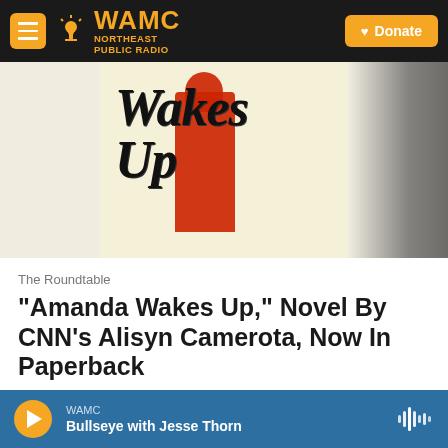WAMC NORTHEAST PUBLIC RADIO | Donate
[Figure (photo): Book cover showing 'Wakes Up' text in large handwritten black lettering with a figure in red clothing on a cream/yellow background]
The Roundtable
"Amanda Wakes Up," Novel By CNN's Alisyn Camerota, Now In Paperback
Joe Donahue,  June 11, 2018
WAMC | Bullseye with Jesse Thorn